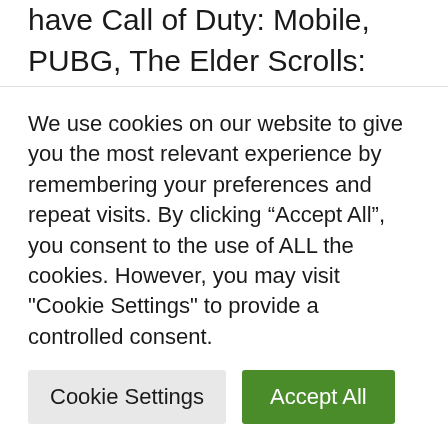have Call of Duty: Mobile, PUBG, The Elder Scrolls: Blades, Roblox, and many more worth checking out. On the other hand, why want to play on a (small) mobile phone when you have consoles or computers?
Personally, I really like the fact that iPhones support gamepads and can be used for gaming. Unfortunately, we have no way to use them in games. As part of the Apple
We use cookies on our website to give you the most relevant experience by remembering your preferences and repeat visits. By clicking “Accept All”, you consent to the use of ALL the cookies. However, you may visit "Cookie Settings" to provide a controlled consent.